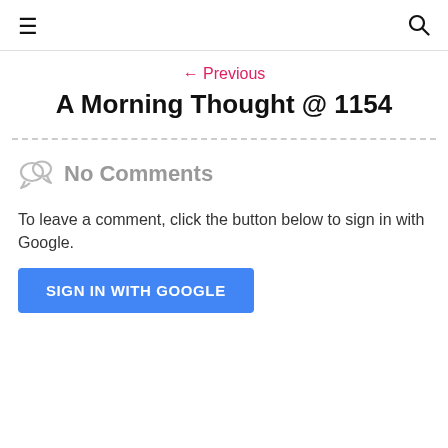≡  🔍
← Previous
A Morning Thought @ 1154
No Comments
To leave a comment, click the button below to sign in with Google.
SIGN IN WITH GOOGLE